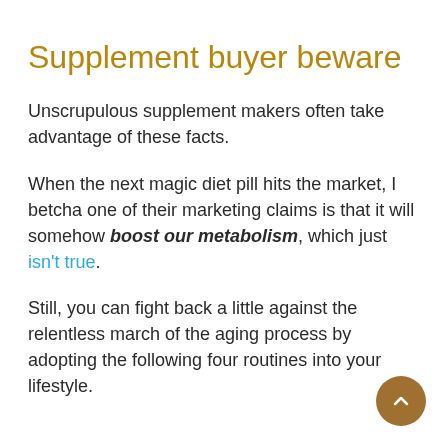Supplement buyer beware
Unscrupulous supplement makers often take advantage of these facts.
When the next magic diet pill hits the market, I betcha one of their marketing claims is that it will somehow boost our metabolism, which just isn't true.
Still, you can fight back a little against the relentless march of the aging process by adopting the following four routines into your lifestyle.